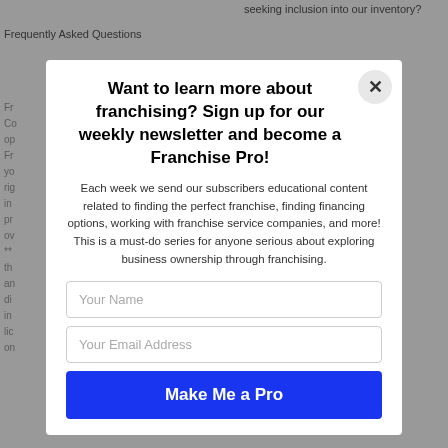Frequently Asked Questions
seeking inclusion into our inventory?
Want to learn more about franchising? Sign up for our weekly newsletter and become a Franchise Pro!
Each week we send our subscribers educational content related to finding the perfect franchise, finding financing options, working with franchise service companies, and more! This is a must-do series for anyone serious about exploring business ownership through franchising.
Your Name
Your Email Address
Make Me a Pro